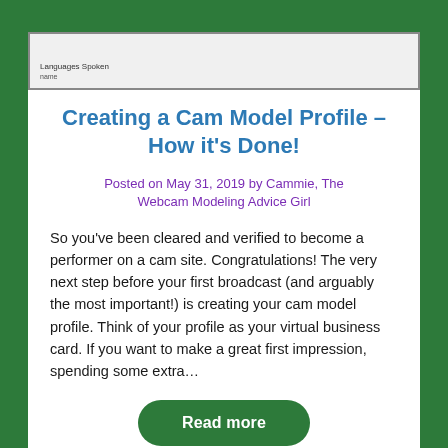[Figure (screenshot): Partial screenshot of a cam model profile form showing 'Languages Spoken' and 'name' fields]
Creating a Cam Model Profile – How it's Done!
Posted on May 31, 2019 by Cammie, The Webcam Modeling Advice Girl
So you've been cleared and verified to become a performer on a cam site. Congratulations! The very next step before your first broadcast (and arguably the most important!) is creating your cam model profile. Think of your profile as your virtual business card. If you want to make a great first impression, spending some extra…
Read more